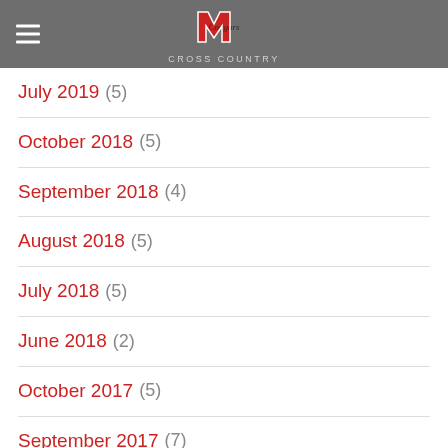M Cougars Cross Country
July 2019 (5)
October 2018 (5)
September 2018 (4)
August 2018 (5)
July 2018 (5)
June 2018 (2)
October 2017 (5)
September 2017 (7)
August 2017 (5)
July 2017 (5)